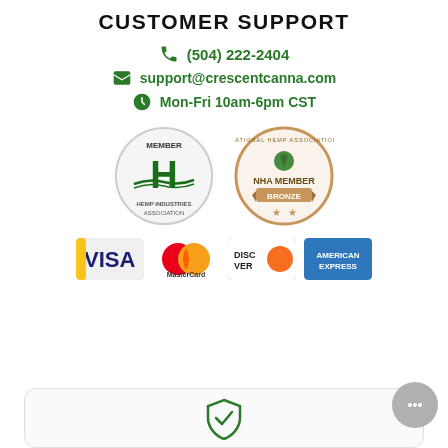CUSTOMER SUPPORT
(504) 222-2404
support@crescentcanna.com
Mon-Fri 10am-6pm CST
[Figure (logo): Hemp Industries Association Member badge (circle, green H logo) and National Hemp Association NHA Member Bronze badge (circle, bronze color)]
[Figure (logo): Payment method logos: Visa, MasterCard, Discover, American Express]
[Figure (illustration): Secure shield with checkmark icon inside a rounded rectangle box at the bottom of the page]